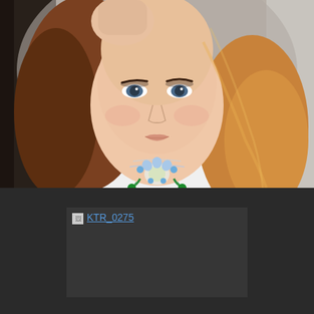[Figure (photo): Portrait photo of a young woman with long blonde/auburn hair, blue eyes, wearing a white top and a green and blue floral necklace. Her right hand is raised near her head. The background is blurred light gray/beige.]
[Figure (photo): Broken image placeholder labeled KTR_0275, showing a broken image icon and underlined link text on a dark gray background.]